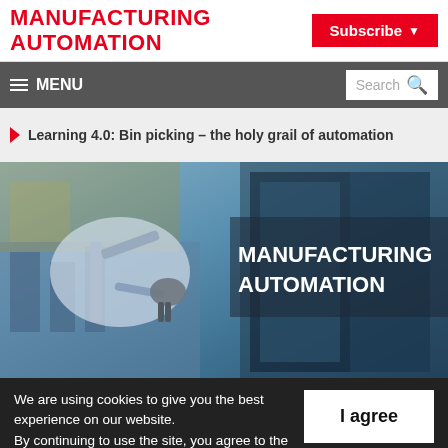MANUFACTURING AUTOMATION
Subscribe
≡ MENU  Search
Learning 4.0: Bin picking – the holy grail of automation
[Figure (photo): Manufacturing Automation branded image showing an industrial robotic arm in a factory setting with blue-toned industrial background]
We are using cookies to give you the best experience on our website.
By continuing to use the site, you agree to the use of cookies.
To find out more, read our privacy policy.